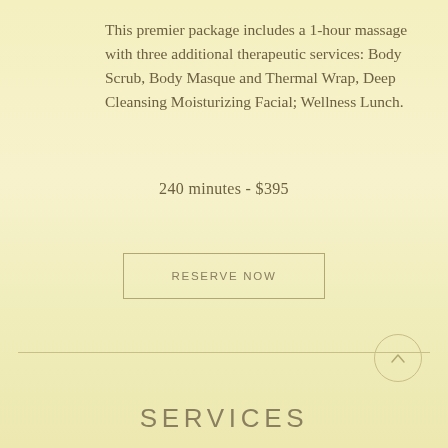This premier package includes a 1-hour massage with three additional therapeutic services: Body Scrub, Body Masque and Thermal Wrap, Deep Cleansing Moisturizing Facial; Wellness Lunch.
240 minutes - $395
RESERVE NOW
SERVICES